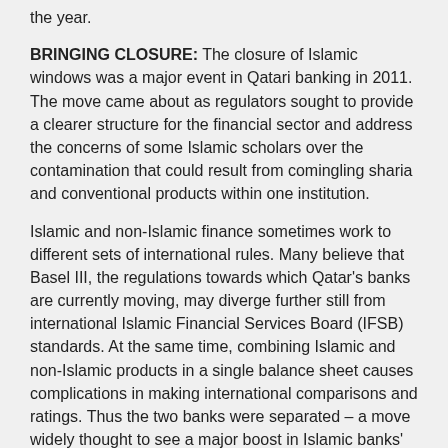the year.
BRINGING CLOSURE: The closure of Islamic windows was a major event in Qatari banking in 2011. The move came about as regulators sought to provide a clearer structure for the financial sector and address the concerns of some Islamic scholars over the contamination that could result from comingling sharia and conventional products within one institution.
Islamic and non-Islamic finance sometimes work to different sets of international rules. Many believe that Basel III, the regulations towards which Qatar's banks are currently moving, may diverge further still from international Islamic Financial Services Board (IFSB) standards. At the same time, combining Islamic and non-Islamic products in a single balance sheet causes complications in making international comparisons and ratings. Thus the two banks were separated – a move widely thought to see a major boost in Islamic banks' portfolios, particularly for the newer institutions on the market, like MAR and Barwa.